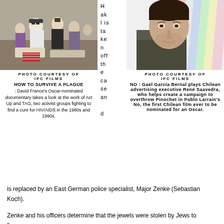[Figure (photo): Outdoor crowd scene with people sitting on the ground, including a person in white shirt and glasses]
PHOTO COURTESY OF IFC FILMS
HOW TO SURVIVE A PLAGUE : David France's Oscar-nominated documentary takes a look at the work of Act Up and TAG, two activist groups fighting to find a cure for HIV/AIDS in the 1980s and 1990s.
H ak l is ta ke n off th e ca se an d
[Figure (photo): Close-up portrait of a young man with dark hair and light stubble against a colorful striped background]
PHOTO COURTESY OF IFC FILMS
NO : Gael García Bernal plays Chilean advertising executive René Saavedra, who helps create a campaign to overthrow Pinochet in Pablo Larrain's No, the first Chilean film ever to be nominated for an Oscar.
is replaced by an East German police specialist, Major Zenke (Sebastian Koch).

Zenke and his officers determine that the jewels were stolen by Jews to finance

"Zionist terrorism," yet Hakl's instincts tell him otherwise. He begins his own

clandestine investigation and follows a trail that leads him into the heart of